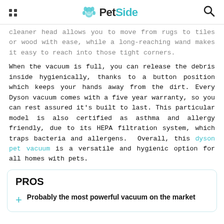PetSide
cleaner head allows you to move from rugs to tiles or wood with ease, while a long-reaching wand makes it easy to reach into those tight corners.
When the vacuum is full, you can release the debris inside hygienically, thanks to a button position which keeps your hands away from the dirt. Every Dyson vacuum comes with a five year warranty, so you can rest assured it's built to last. This particular model is also certified as asthma and allergy friendly, due to its HEPA filtration system, which traps bacteria and allergens. Overall, this dyson pet vacuum is a versatile and hygienic option for all homes with pets.
PROS
Probably the most powerful vacuum on the market